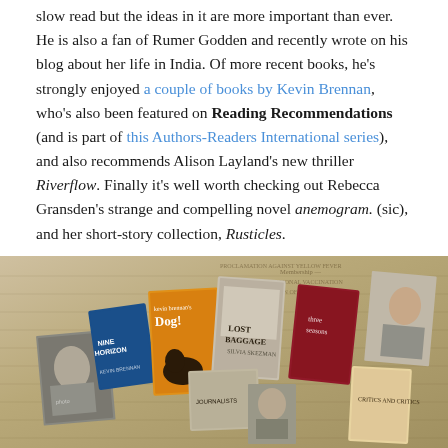slow read but the ideas in it are more important than ever. He is also a fan of Rumer Godden and recently wrote on his blog about her life in India. Of more recent books, he's strongly enjoyed a couple of books by Kevin Brennan, who's also been featured on Reading Recommendations (and is part of this Authors-Readers International series), and also recommends Alison Layland's new thriller Riverflow. Finally it's well worth checking out Rebecca Gransden's strange and compelling novel anemogram. (sic), and her short-story collection, Rusticles.
[Figure (photo): A collage of book covers and old documents/papers spread out on a surface, including books titled 'Dog!', 'Lost Baggage' by Silvia Skezman, 'Nine Horizons', 'Three Seasons', and others, along with vintage photographs and handwritten documents.]